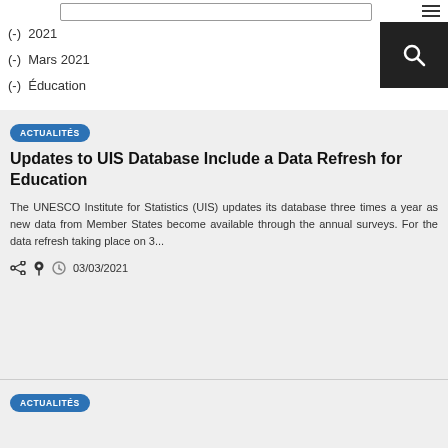(-) 2021
(-) Mars 2021
(-) Éducation
ACTUALITÉS
Updates to UIS Database Include a Data Refresh for Education
The UNESCO Institute for Statistics (UIS) updates its database three times a year as new data from Member States become available through the annual surveys. For the data refresh taking place on 3...
03/03/2021
ACTUALITÉS